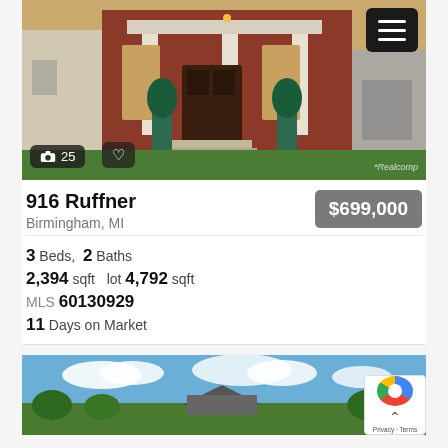[Figure (photo): Exterior photo of brick Colonial-style home at 916 Ruffner, Birmingham MI. Dark wood front door, white columns, arborvitae shrubs, green lawn.]
916 Ruffner
Birmingham, MI
$699,000
3 Beds, 2 Baths
2,394 sqft  lot 4,792 sqft
MLS 60130929
11 Days on Market
[Figure (photo): Exterior photo of a home with blue sky and clouds, green trees visible at bottom.]